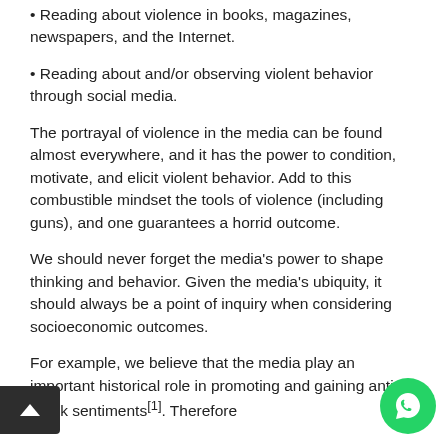• Reading about violence in books, magazines, newspapers, and the Internet.
• Reading about and/or observing violent behavior through social media.
The portrayal of violence in the media can be found almost everywhere, and it has the power to condition, motivate, and elicit violent behavior. Add to this combustible mindset the tools of violence (including guns), and one guarantees a horrid outcome.
We should never forget the media's power to shape thinking and behavior. Given the media's ubiquity, it should always be a point of inquiry when considering socioeconomic outcomes.
For example, we believe that the media play an important historical role in promoting and gaining anti-Black sentiments [1]. Therefore